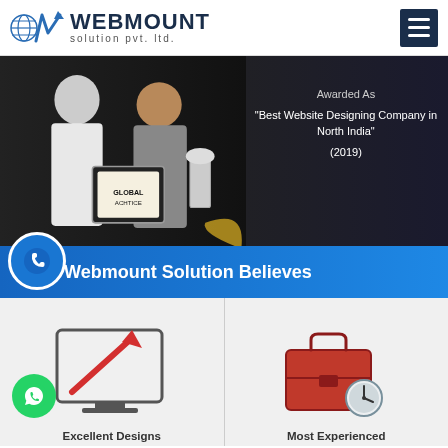[Figure (logo): Webmount Solution Pvt. Ltd. logo with globe icon and stylized MW graphic in blue/gray]
[Figure (photo): Two men posing with an award certificate and trophy. Text overlay: Awarded As 'Best Website Designing Company in North India' (2019)]
Awarded As
"Best Website Designing Company in North India"
(2019)
Webmount Solution Believes
[Figure (illustration): Monitor icon with a red pen/stylus graphic — representing Excellent Designs]
[Figure (illustration): Red briefcase with a clock icon — representing Most Experienced]
Excellent Designs
Most Experienced